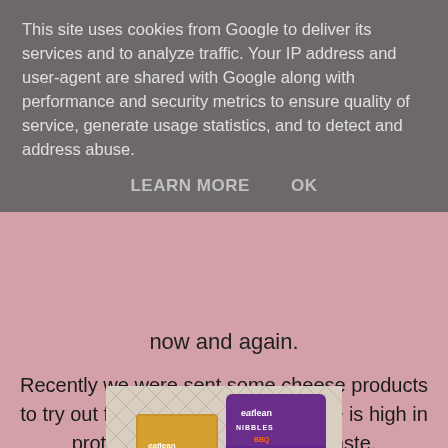This site uses cookies from Google to deliver its services and to analyze traffic. Your IP address and user-agent are shared with Google along with performance and security metrics to ensure quality of service, generate usage statistics, and to detect and address abuse.
LEARN MORE    OK
now and again.
Recently we were sent some cheese products to try out from Eatlean. Their cheese is high in protein, low in fat and big on taste.
[Figure (photo): Eatlean cheese products including Eatlean Cheese Bake box, Eatlean Nibbles BBQ pack, and other Eatlean branded products arranged on a patterned surface.]